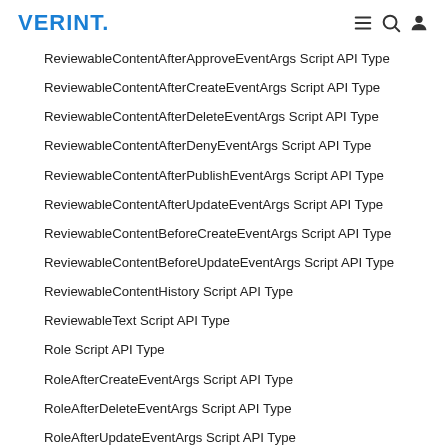VERINT.
ReviewableContentAfterApproveEventArgs Script API Type
ReviewableContentAfterCreateEventArgs Script API Type
ReviewableContentAfterDeleteEventArgs Script API Type
ReviewableContentAfterDenyEventArgs Script API Type
ReviewableContentAfterPublishEventArgs Script API Type
ReviewableContentAfterUpdateEventArgs Script API Type
ReviewableContentBeforeCreateEventArgs Script API Type
ReviewableContentBeforeUpdateEventArgs Script API Type
ReviewableContentHistory Script API Type
ReviewableText Script API Type
Role Script API Type
RoleAfterCreateEventArgs Script API Type
RoleAfterDeleteEventArgs Script API Type
RoleAfterUpdateEventArgs Script API Type
RoleBeforeCreateEventArgs Script API Type
RoleBeforeDeleteEventArgs Script API Type
RoleBeforeUpdateEventArgs Script API Type